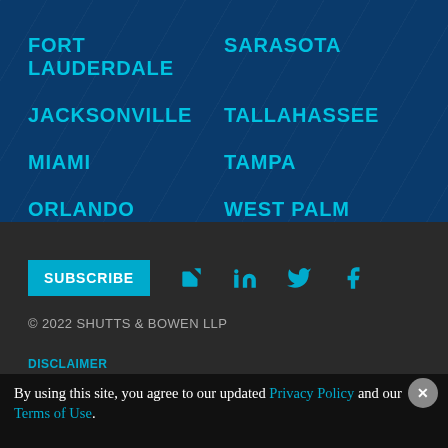FORT LAUDERDALE
SARASOTA
JACKSONVILLE
TALLAHASSEE
MIAMI
TAMPA
ORLANDO
WEST PALM BEACH
SUBSCRIBE
© 2022 SHUTTS & BOWEN LLP
DISCLAIMER
PRIVACY POLICY
ACCESSIBILITY STATEMENT
By using this site, you agree to our updated Privacy Policy and our Terms of Use.